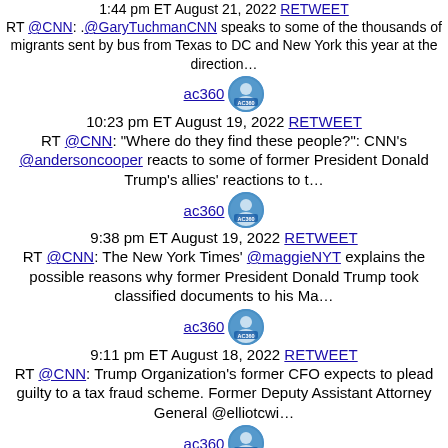1:44 pm ET August 21, 2022 RETWEET
RT @CNN: .@GaryTuchmanCNN speaks to some of the thousands of migrants sent by bus from Texas to DC and New York this year at the direction…
ac360
10:23 pm ET August 19, 2022 RETWEET
RT @CNN: "Where do they find these people?": CNN's @andersoncooper reacts to some of former President Donald Trump's allies' reactions to t…
ac360
9:38 pm ET August 19, 2022 RETWEET
RT @CNN: The New York Times' @maggieNYT explains the possible reasons why former President Donald Trump took classified documents to his Ma…
ac360
9:11 pm ET August 18, 2022 RETWEET
RT @CNN: Trump Organization's former CFO expects to plead guilty to a tax fraud scheme. Former Deputy Assistant Attorney General @elliotcwi…
ac360
9:59 pm ET August 17, 2022 RETWEET